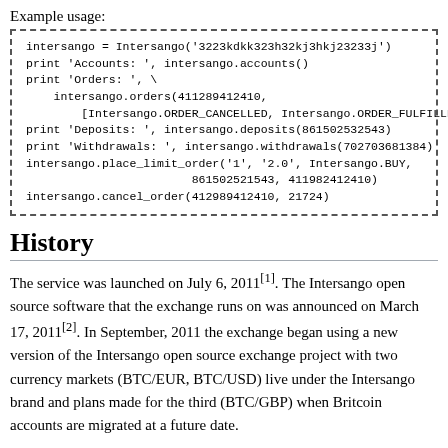Example usage:
[Figure (screenshot): Code block with dashed border showing Python example usage of Intersango API including account, order, deposit, withdrawal, and cancel_order calls.]
History
The service was launched on July 6, 2011[1]. The Intersango open source software that the exchange runs on was announced on March 17, 2011[2]. In September, 2011 the exchange began using a new version of the Intersango open source exchange project with two currency markets (BTC/EUR, BTC/USD) live under the Intersango brand and plans made for the third (BTC/GBP) when Britcoin accounts are migrated at a future date.
See Also